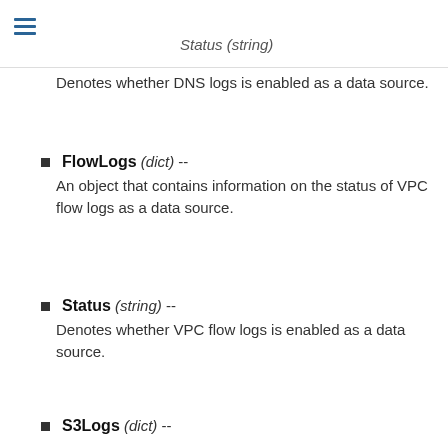Status (string)
Denotes whether DNS logs is enabled as a data source.
FlowLogs (dict) --
An object that contains information on the status of VPC flow logs as a data source.
Status (string) --
Denotes whether VPC flow logs is enabled as a data source.
S3Logs (dict) --
An object that contains information on the status of S3 Data event logs as a data source.